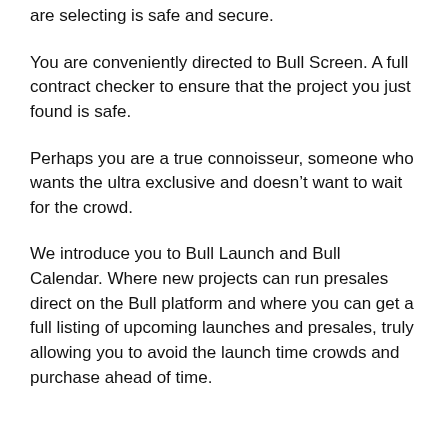are selecting is safe and secure.
You are conveniently directed to Bull Screen. A full contract checker to ensure that the project you just found is safe.
Perhaps you are a true connoisseur, someone who wants the ultra exclusive and doesn’t want to wait for the crowd.
We introduce you to Bull Launch and Bull Calendar. Where new projects can run presales direct on the Bull platform and where you can get a full listing of upcoming launches and presales, truly allowing you to avoid the launch time crowds and purchase ahead of time.